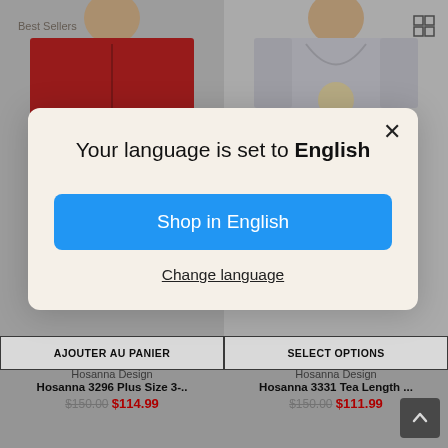[Figure (screenshot): E-commerce product grid showing two clothing items (red dress and gray dress) by Hosanna Design in the background, partially obscured by a language selection modal dialog.]
Best Sellers
AJOUTER AU PANIER
SELECT OPTIONS
Hosanna Design
Hosanna 3296 Plus Size 3-..
$150.00  $114.99
Hosanna Design
Hosanna 3331 Tea Length ...
$150.00  $111.99
Your language is set to English
Shop in English
Change language